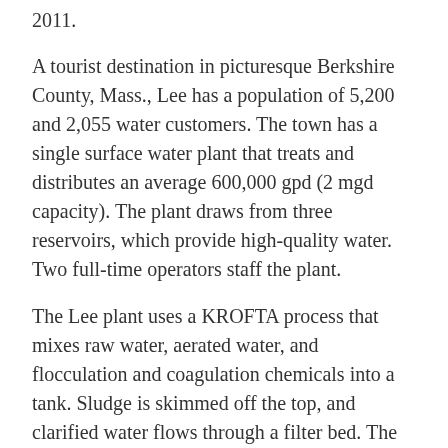2011.
A tourist destination in picturesque Berkshire County, Mass., Lee has a population of 5,200 and 2,055 water customers. The town has a single surface water plant that treats and distributes an average 600,000 gpd (2 mgd capacity). The plant draws from three reservoirs, which provide high-quality water. Two full-time operators staff the plant.
The Lee plant uses a KROFTA process that mixes raw water, aerated water, and flocculation and coagulation chemicals into a tank. Sludge is skimmed off the top, and clarified water flows through a filter bed. The finished water is disinfected and pumped to one of three storage tanks.
Subscribe: If you don't want to bring your iPad into the bathroom, we can send you a magazine